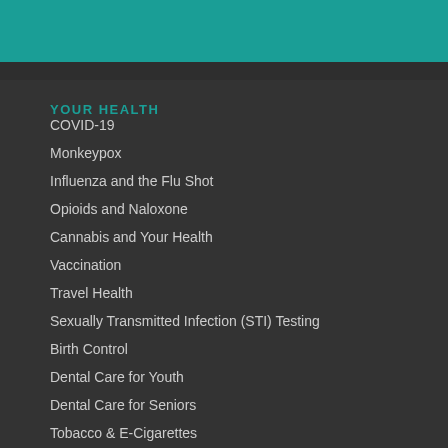YOUR HEALTH
COVID-19
Monkeypox
Influenza and the Flu Shot
Opioids and Naloxone
Cannabis and Your Health
Vaccination
Travel Health
Sexually Transmitted Infection (STI) Testing
Birth Control
Dental Care for Youth
Dental Care for Seniors
Tobacco & E-Cigarettes